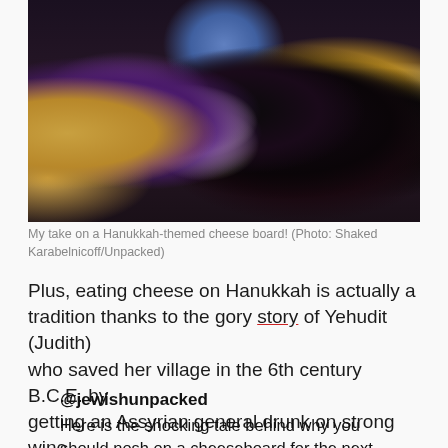[Figure (photo): A Hanukkah-themed cheese board with crackers, purple chips, white chocolate pebbles, blackberries, blueberries, nuts, and a round white cheese.]
My take on a Hanukkah-themed cheese board! (Photo: Shaked Karabelnicoff/Unpacked)
Plus, eating cheese on Hanukkah is actually a tradition thanks to the gory story of Yehudit (Judith) who saved her village in the 6th century B.C.E. by getting an Assyrian general drunk on strong wine and salty cheese.
@jewishunpacked
Here is the shocking tale behind why you should nosh on a cheeseboard for the next 8 days🎁 #Hanukkah2021 #Hanukkah